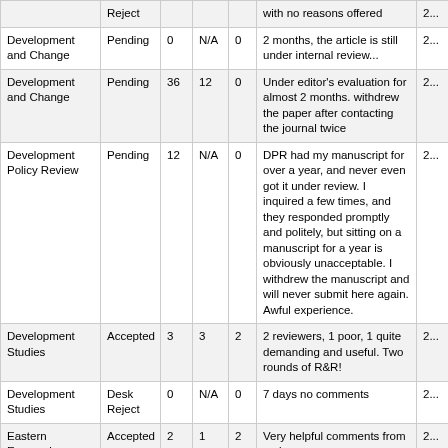| Journal | Decision | Col3 | Col4 | Col5 | Comment | Col7 |
| --- | --- | --- | --- | --- | --- | --- |
|  | Reject |  |  |  | with no reasons offered | 2... |
| Development and Change | Pending | 0 | N/A | 0 | 2 months, the article is still under internal review... | 2... |
| Development and Change | Pending | 36 | 12 | 0 | Under editor's evaluation for almost 2 months. withdrew the paper after contacting the journal twice | 2... |
| Development Policy Review | Pending | 12 | N/A | 0 | DPR had my manuscript for over a year, and never even got it under review. I inquired a few times, and they responded promptly and politely, but sitting on a manuscript for a year is obviously unacceptable. I withdrew the manuscript and will never submit here again. Awful experience. | 2... |
| Development Studies | Accepted | 3 | 3 | 2 | 2 reviewers, 1 poor, 1 quite demanding and useful. Two rounds of R&R! | 2... |
| Development Studies | Desk Reject | 0 | N/A | 0 | 7 days no comments | 2... |
| Eastern Economic Journal | Accepted | 2 | 1 | 2 | Very helpful comments from reviewers. | 2... |
| Eastern Economic Journal | Accepted | 4 | 3 | 2 | good reports. fair and timely process. | 2... |